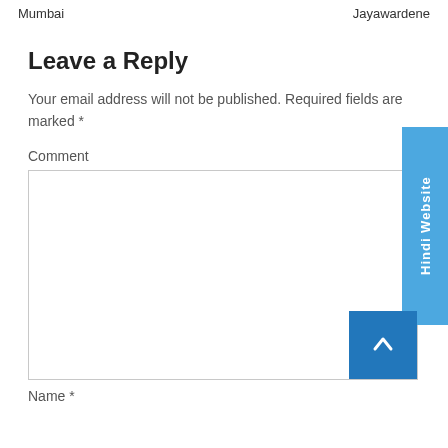Mumbai   Jayawardene
Leave a Reply
Your email address will not be published. Required fields are marked *
Comment
Name *